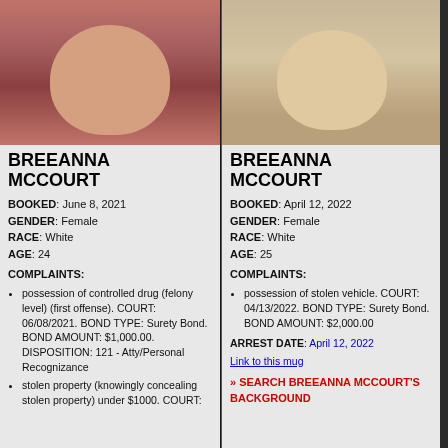[Figure (photo): Mugshot photo of Breeanna McCourt, booked June 8, 2021, dark hair, red shirt]
BREEANNA MCCOURT
BOOKED: June 8, 2021
GENDER: Female
RACE: White
AGE: 24
COMPLAINTS:
possession of controlled drug (felony level) (first offense). COURT: 06/08/2021. BOND TYPE: Surety Bond. BOND AMOUNT: $1,000.00. DISPOSITION: 121 - Atty/Personal Recognizance
stolen property (knowingly concealing stolen property) under $1000. COURT:
[Figure (photo): Mugshot photo of Breeanna McCourt, booked April 12, 2022, blonde hair, light shirt]
BREEANNA MCCOURT
BOOKED: April 12, 2022
GENDER: Female
RACE: White
AGE: 25
COMPLAINTS:
possession of stolen vehicle. COURT: 04/13/2022. BOND TYPE: Surety Bond. BOND AMOUNT: $2,000.00
ARREST DATE: April 12, 2022
Link to this mug
» SEARCH BREEANNA MCCOURT'S BACKGROUND